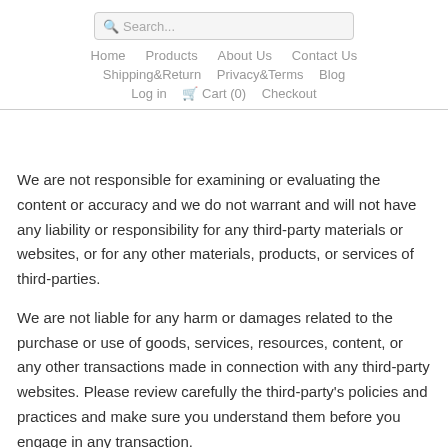Search... Home  Products  About Us  Contact Us  Shipping&Return  Privacy&Terms  Blog  Log in  Cart (0)  Checkout
We are not responsible for examining or evaluating the content or accuracy and we do not warrant and will not have any liability or responsibility for any third-party materials or websites, or for any other materials, products, or services of third-parties.
We are not liable for any harm or damages related to the purchase or use of goods, services, resources, content, or any other transactions made in connection with any third-party websites. Please review carefully the third-party's policies and practices and make sure you understand them before you engage in any transaction.